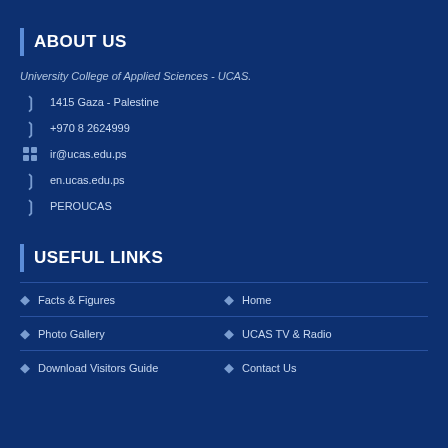ABOUT US
University College of Applied Sciences - UCAS.
1415 Gaza - Palestine
+970 8 2624999
ir@ucas.edu.ps
en.ucas.edu.ps
PEROUCAS
USEFUL LINKS
Facts & Figures
Home
Photo Gallery
UCAS TV & Radio
Download Visitors Guide
Contact Us